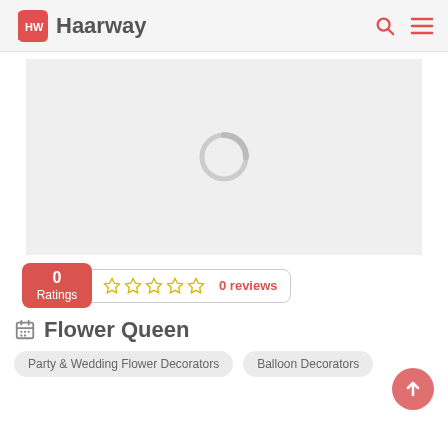Haarway
[Figure (screenshot): Loading spinner / placeholder image area with a gray circular loading indicator on a light gray background]
0 Ratings   ☆☆☆☆☆   0 reviews
Flower Queen
Party & Wedding Flower Decorators
Balloon Decorators